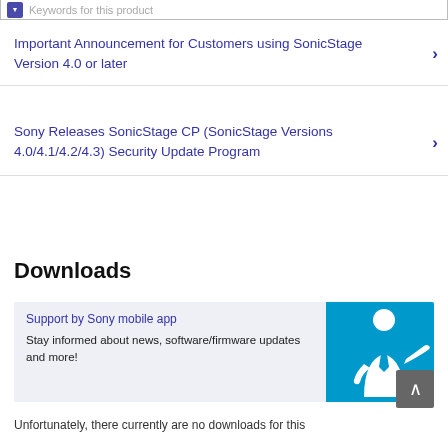Important Announcement for Customers using SonicStage Version 4.0 or later
Sony Releases SonicStage CP (SonicStage Versions 4.0/4.1/4.2/4.3) Security Update Program
Downloads
[Figure (screenshot): Support by Sony mobile app card with blue background showing a white silhouette of a person gesturing, with text 'Support by Sony mobile app' and 'Stay informed about news, software/firmware updates and more!']
Unfortunately, there currently are no downloads for this